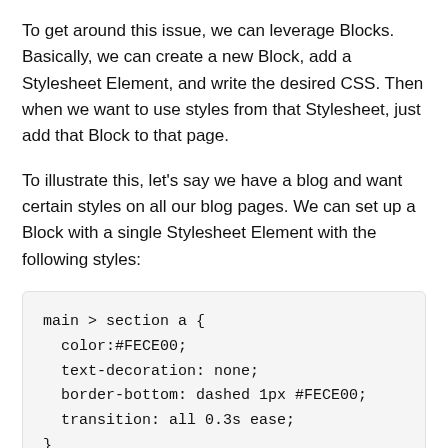To get around this issue, we can leverage Blocks. Basically, we can create a new Block, add a Stylesheet Element, and write the desired CSS. Then when we want to use styles from that Stylesheet, just add that Block to that page.
To illustrate this, let's say we have a blog and want certain styles on all our blog pages. We can set up a Block with a single Stylesheet Element with the following styles:
main > section a {
  color:#FECE00;
  text-decoration: none;
  border-bottom: dashed 1px #FECE00;
  transition: all 0.3s ease;
}